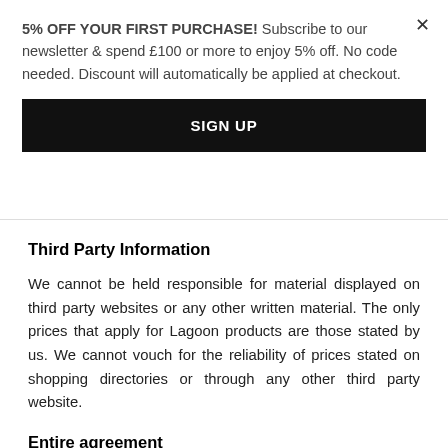5% OFF YOUR FIRST PURCHASE! Subscribe to our newsletter & spend £100 or more to enjoy 5% off. No code needed. Discount will automatically be applied at checkout.
SIGN UP
Third Party Information
We cannot be held responsible for material displayed on third party websites or any other written material. The only prices that apply for Lagoon products are those stated by us. We cannot vouch for the reliability of prices stated on shopping directories or through any other third party website.
Entire agreement
These Terms and Conditions govern our